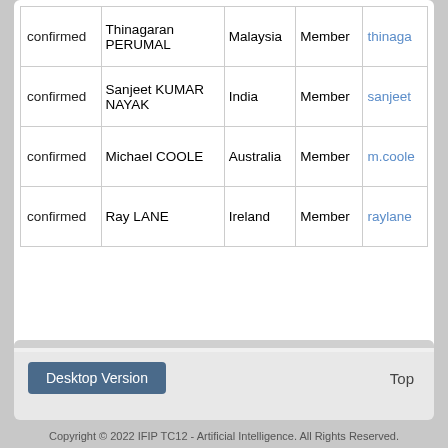| Status | Name | Country | Role | Email |
| --- | --- | --- | --- | --- |
| confirmed | Thinagaran PERUMAL | Malaysia | Member | thinaga... |
| confirmed | Sanjeet KUMAR NAYAK | India | Member | sanjeet... |
| confirmed | Michael COOLE | Australia | Member | m.coole... |
| confirmed | Ray LANE | Ireland | Member | raylane... |
Desktop Version
Top
Copyright © 2022 IFIP TC12 - Artificial Intelligence. All Rights Reserved.